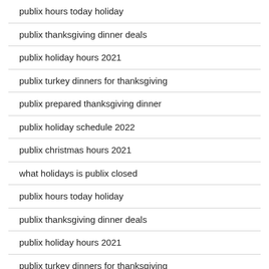publix hours today holiday
publix thanksgiving dinner deals
publix holiday hours 2021
publix turkey dinners for thanksgiving
publix prepared thanksgiving dinner
publix holiday schedule 2022
publix christmas hours 2021
what holidays is publix closed
publix hours today holiday
publix thanksgiving dinner deals
publix holiday hours 2021
publix turkey dinners for thanksgiving